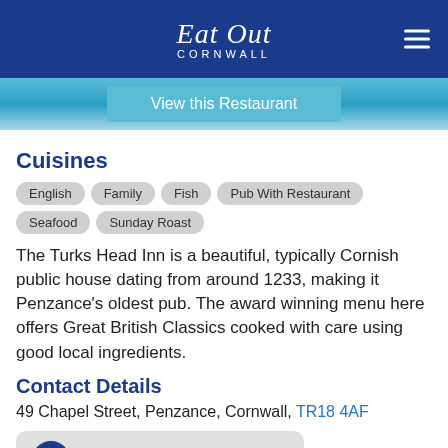Eat Out Cornwall
View this Restaurant
Cuisines
English
Family
Fish
Pub With Restaurant
Seafood
Sunday Roast
The Turks Head Inn is a beautiful, typically Cornish public house dating from around 1233, making it Penzance's oldest pub. The award winning menu here offers Great British Classics cooked with care using good local ingredients.
Contact Details
49 Chapel Street, Penzance, Cornwall, TR18 4AF
Tel: 01736 363093
(Call the number and mention Eat Out Cornwall)